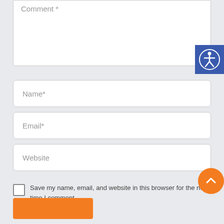Comment *
Name*
Email*
Website
Save my name, email, and website in this browser for the next time I comment.
[Figure (illustration): Accessibility icon - person figure in a circle on blue background]
[Figure (illustration): Scroll to top button - orange circle with upward arrow]